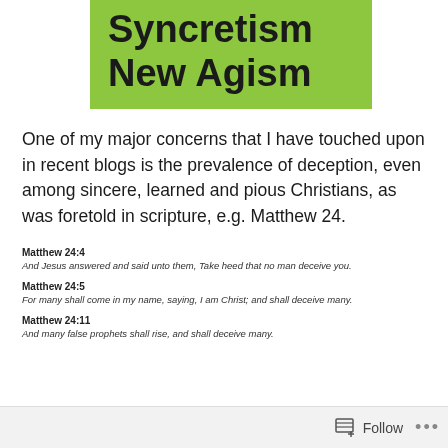Syncretism New Agism
One of my major concerns that I have touched upon in recent blogs is the prevalence of deception, even among sincere, learned and pious Christians, as was foretold in scripture, e.g. Matthew 24.
Matthew 24:4
And Jesus answered and said unto them, Take heed that no man deceive you.
Matthew 24:5
For many shall come in my name, saying, I am Christ; and shall deceive many.
Matthew 24:11
And many false prophets shall rise, and shall deceive many.
Follow